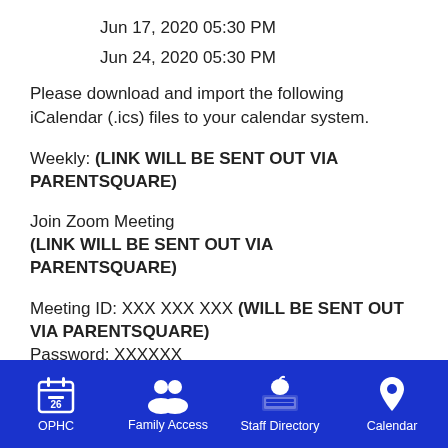Jun 17, 2020 05:30 PM
Jun 24, 2020 05:30 PM
Please download and import the following iCalendar (.ics) files to your calendar system.
Weekly: (LINK WILL BE SENT OUT VIA PARENTSQUARE)
Join Zoom Meeting
(LINK WILL BE SENT OUT VIA PARENTSQUARE)
Meeting ID: XXX XXX XXX (WILL BE SENT OUT VIA PARENTSQUARE)
Password: XXXXXX
One tap mobile
+16699006833,,426825527# US (San Jose)
+13462487799,,426825527# US (Houston)
OPHC   Family Access   Staff Directory   Calendar